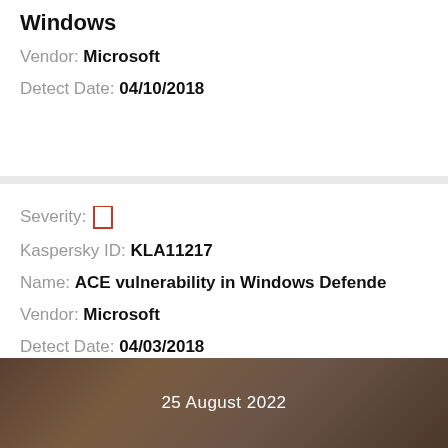Windows
Vendor: Microsoft
Detect Date: 04/10/2018
Severity: [icon]
Kaspersky ID: KLA11217
Name: ACE vulnerability in Windows Defender
Vendor: Microsoft
Detect Date: 04/03/2018
[Figure (photo): Dark textured background image with date text '25 August 2022' overlaid in white]
25 August 2022